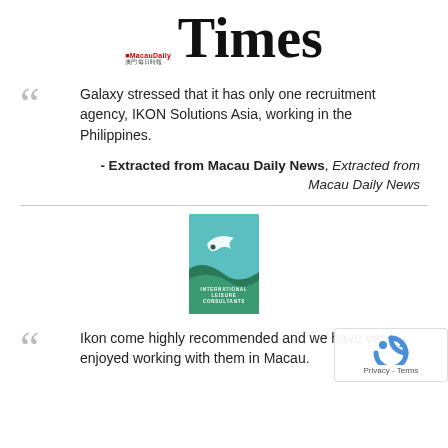[Figure (logo): MacauDaily Times newspaper logo with red MacauDaily label and large serif Times wordmark]
Galaxy stressed that it has only one recruitment agency, IKON Solutions Asia, working in the Philippines.
- Extracted from Macau Daily News, Extracted from Macau Daily News
[Figure (logo): International Leisure Consultants logo — teal/green rectangle with abstract bird/wave graphic and text INTERNATIONAL LEISURE CONSULTANTS]
Ikon come highly recommended and we have very enjoyed working with them in Macau.